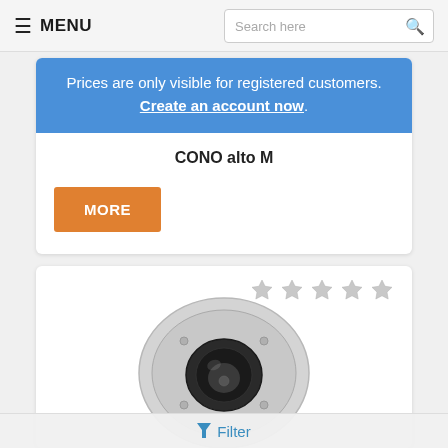MENU | Search here
Prices are only visible for registered customers. Create an account now.
CONO alto M
MORE
[Figure (photo): Product image of a dome/cone-shaped ceiling fixture (CONO alto M) with a metal circular base and central cone element, viewed from below]
Filter